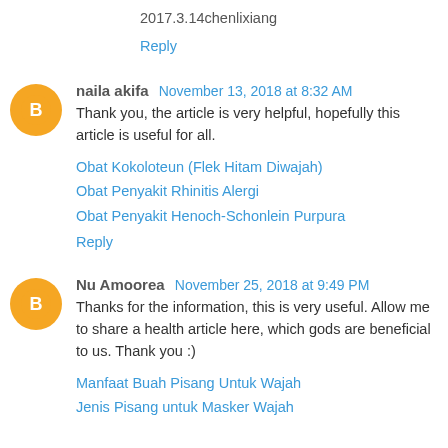2017.3.14chenlixiang
Reply
naila akifa  November 13, 2018 at 8:32 AM
Thank you, the article is very helpful, hopefully this article is useful for all.
Obat Kokoloteun (Flek Hitam Diwajah)
Obat Penyakit Rhinitis Alergi
Obat Penyakit Henoch-Schonlein Purpura
Reply
Nu Amoorea  November 25, 2018 at 9:49 PM
Thanks for the information, this is very useful. Allow me to share a health article here, which gods are beneficial to us. Thank you :)
Manfaat Buah Pisang Untuk Wajah
Jenis Pisang untuk Masker Wajah